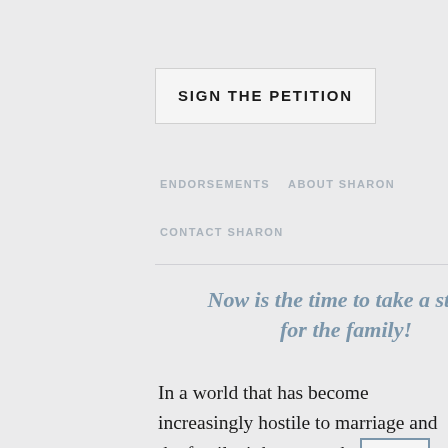SIGN THE PETITION
ENDORSEMENTS   ABOUT SHARON
CONTACT SHARON
Now is the time to take a stand for the family!
In a world that has become increasingly hostile to marriage and the family, it has never been more essential for people across the world to organize to preserve and promote the traditional family. We invite responsible and